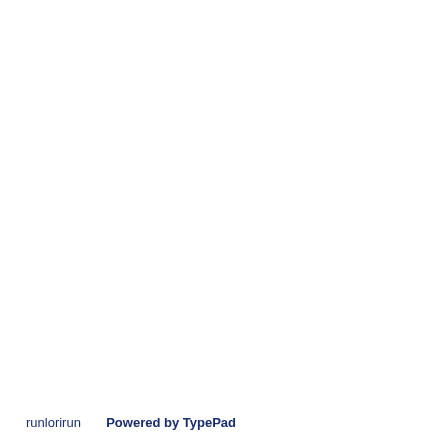runlorirun      Powered by TypePad